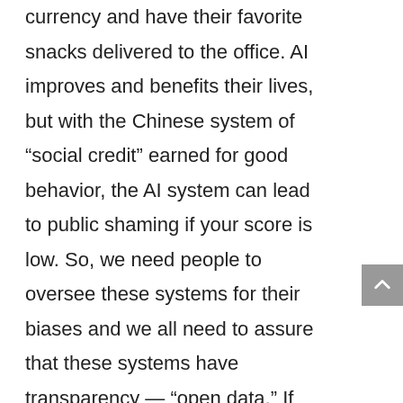currency and have their favorite snacks delivered to the office. AI improves and benefits their lives, but with the Chinese system of “social credit” earned for good behavior, the AI system can lead to public shaming if your score is low. So, we need people to oversee these systems for their biases and we all need to assure that these systems have transparency — “open data.” If Taobao, the internet consumer giant in China, talks to the bank, then citizens need to know what info is being shared. The Chinese have an “ecology” of AI: Wechat, the social media app, talks to Taobao, the consumer platform, which talks to the bank, which has access to your social credit score.